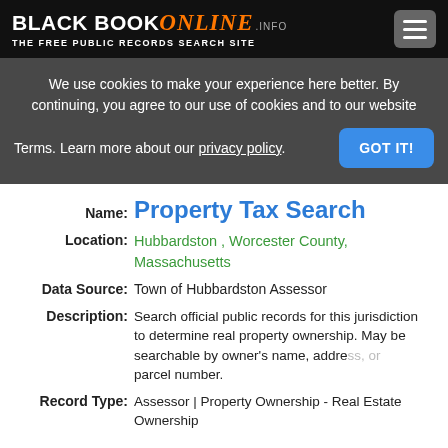BLACK BOOK ONLINE .INFO — THE FREE PUBLIC RECORDS SEARCH SITE
We use cookies to make your experience here better. By continuing, you agree to our use of cookies and to our website Terms. Learn more about our privacy policy. GOT IT!
Name: Property Tax Search
Location: Hubbardston , Worcester County, Massachusetts
Data Source: Town of Hubbardston Assessor
Description: Search official public records for this jurisdiction to determine real property ownership. May be searchable by owner's name, address, or parcel number.
Record Type: Assessor | Property Ownership - Real Estate Ownership